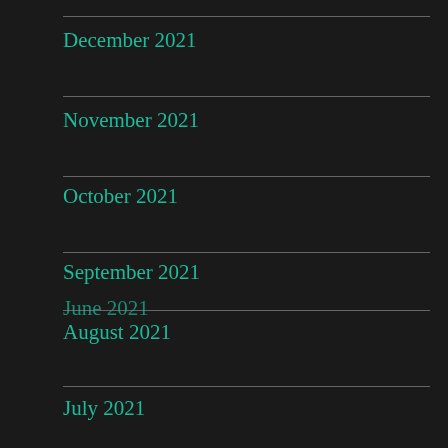December 2021
November 2021
October 2021
September 2021
August 2021
July 2021
June 2021
Advertisements
Build a writing habit. Post on the go.
GET THE APP